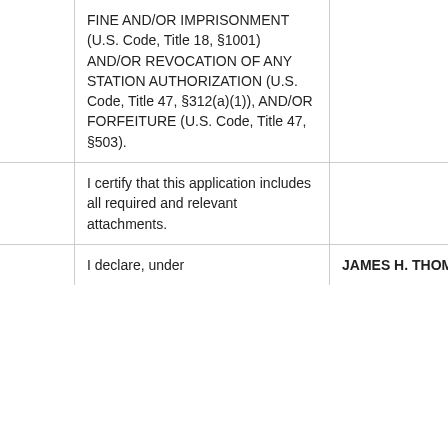|  | FINE AND/OR IMPRISONMENT (U.S. Code, Title 18, §1001) AND/OR REVOCATION OF ANY STATION AUTHORIZATION (U.S. Code, Title 47, §312(a)(1)), AND/OR FORFEITURE (U.S. Code, Title 47, §503). |  |
|  | I certify that this application includes all required and relevant attachments. |  |
|  | I declare, under | JAMES H. THOMPSON |